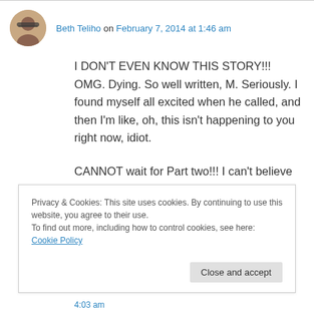Beth Teliho on February 7, 2014 at 1:46 am
I DON'T EVEN KNOW THIS STORY!!! OMG. Dying. So well written, M. Seriously. I found myself all excited when he called, and then I'm like, oh, this isn't happening to you right now, idiot.
CANNOT wait for Part two!!! I can't believe you were nervous to publish this…it's brillz.
Privacy & Cookies: This site uses cookies. By continuing to use this website, you agree to their use.
To find out more, including how to control cookies, see here: Cookie Policy
Close and accept
4:03 am